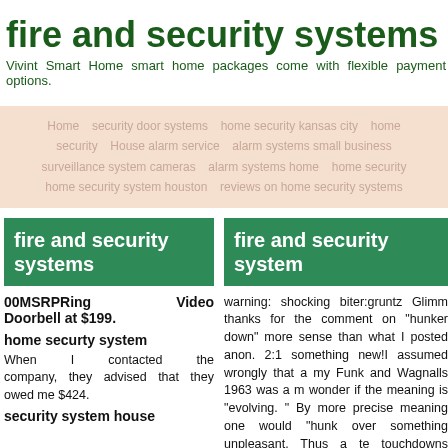fire and security systems
Vivint Smart Home smart home packages come with flexible payment options.
Home   security door systems   home security kansas city   home security   House alarm service   alarm systems small business   surveillance system cameras   alarm systems home   home security home security system houston   reviews on home security systems
fire and security systems
fire and security system
00MSRPRing Video Doorbell at $199.
home securty system
When I contacted the company, they advised that they owed me $424.
security system house
warning: shocking biter:gruntz Glimm thanks for the comment on "hunker down" more sense than what I posted anon. 2:1 something new!I assumed wrongly that a my Funk and Wagnalls 1963 was a m wonder if the meaning is "evolving. " By more precise meaning one would "hunk over something unpleasant. Thus a te touchdowns would "hunker down" and w to end, so that it could begin to prepar hopeful next game. But I do think the te more for the team ahead. Perhaps for